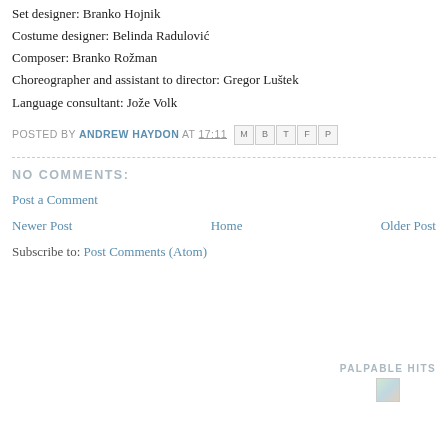Set designer: Branko Hojnik
Costume designer: Belinda Radulović
Composer: Branko Rožman
Choreographer and assistant to director: Gregor Luštek
Language consultant: Jože Volk
POSTED BY ANDREW HAYDON AT 17:11 [share icons]
NO COMMENTS:
Post a Comment
Newer Post   Home   Older Post
Subscribe to: Post Comments (Atom)
PALPABLE HITS